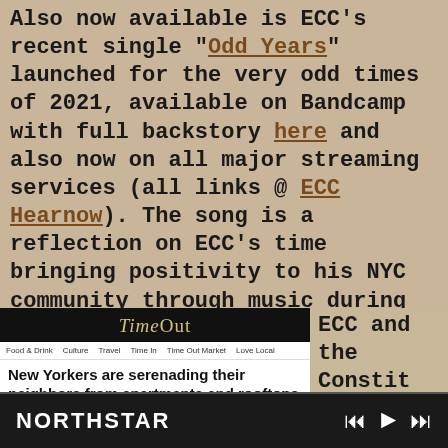Also now available is ECC's recent single "Odd Years" launched for the very odd times of 2021, available on Bandcamp with full backstory here and also now on all major streaming services (all links @ ECC Hearnow). The song is a reflection on ECC's time bringing positivity to his NYC community through music during quarantine.
[Figure (screenshot): Time Out website screenshot showing article headline 'New Yorkers are serenading their neighbors from apartments and rooftops' with byline 'Erich Collins Carey singing This is Your Land']
ECC and the Constituency hope to build
NORTHSTAR   |◀◀  ▶  ▶▶|